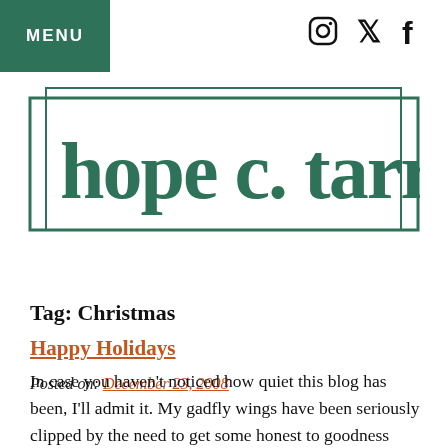MENU
[Figure (logo): hope c. tarr logo in dark green serif font with rectangular border]
Tag: Christmas
Happy Holidays
Posted on: December 23, 2008
In case you haven't noticed how quiet this blog has been, I'll admit it. My gadfly wings have been seriously clipped by the need to get some honest to goodness writing done. Still, you know what they say about all